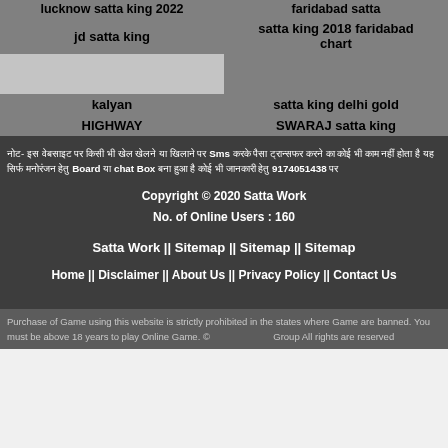| lucknow satta king 2022 | faridabad satta |
| jd satta king | satta king 2018 faridabad chart |
|  |  |
| kalyan | satta king delhi gold |
| HIGHWAY | SWARAJ satta king |
नोट- इस वेबसाइट पर किसी भी खेल खेलने या खिलाने पर Sms करके पैसा ट्रान्सफर करने का कोई भी काम नहीं होता है यह सिर्फ मनोरंजन हेतु Board या chat Box बना हुआ है कोई भी जानकारी हेतु 9174051438 पर
Copyright © 2020 Satta Work
No. of Online Users : 160
Satta Work ||  Sitemap ||  Sitemap ||  Sitemap
Home  ||  Disclaimer  ||  About Us  ||  Privacy Policy  ||  Contact Us
Purchase of Game using this website is strictly prohibited in the states where Game are banned. You must be above 18 years to play Online Game. © Group All rights are reserved